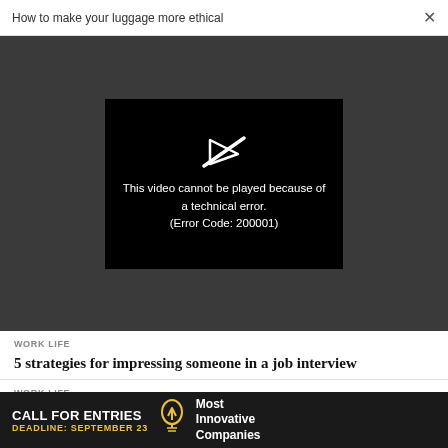How to make your luggage more ethical ×
[Figure (screenshot): Video player error screen on dark grey background. Black rectangle displays a broken/slashed play button icon and text: 'This video cannot be played because of a technical error. (Error Code: 200001)']
WORK LIFE
5 strategies for impressing someone in a job interview
WORK LIFE
Cursing at work has become acceptable–for some
[Figure (infographic): Black advertisement banner: 'CALL FOR ENTRIES' in white bold text, 'DEADLINE: SEPTEMBER 23' in yellow, a lightbulb icon, and 'Most Innovative Companies' in white text on the right.]